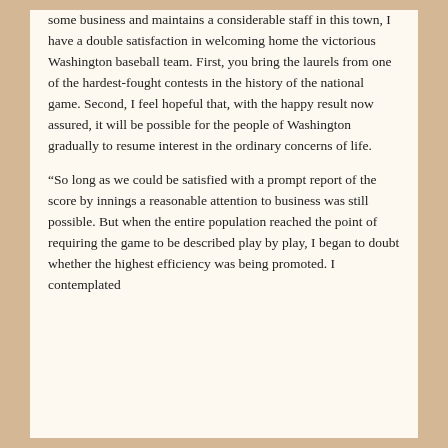some business and maintains a considerable staff in this town, I have a double satisfaction in welcoming home the victorious Washington baseball team. First, you bring the laurels from one of the hardest-fought contests in the history of the national game. Second, I feel hopeful that, with the happy result now assured, it will be possible for the people of Washington gradually to resume interest in the ordinary concerns of life.
“So long as we could be satisfied with a prompt report of the score by innings a reasonable attention to business was still possible. But when the entire population reached the point of requiring the game to be described play by play, I began to doubt whether the highest efficiency was being promoted. I contemplated